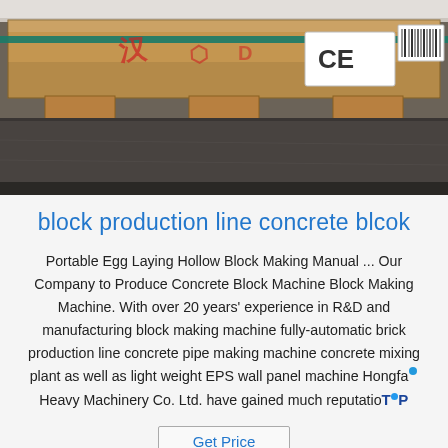[Figure (photo): Photo of a packaged machine or equipment on a wooden pallet with brown cardboard wrapping, a blue strap, CE mark label, and additional shipping labels. The pallet is on a concrete floor.]
block production line concrete blcok
Portable Egg Laying Hollow Block Making Manual ... Our Company to Produce Concrete Block Machine Block Making Machine. With over 20 years' experience in R&D and manufacturing block making machine fully-automatic brick production line concrete pipe making machine concrete mixing plant as well as light weight EPS wall panel machine Hongfa Heavy Machinery Co. Ltd. have gained much reputation
Get Price